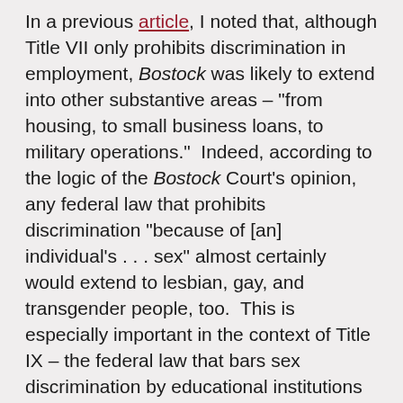In a previous article, I noted that, although Title VII only prohibits discrimination in employment, Bostock was likely to extend into other substantive areas – "from housing, to small business loans, to military operations." Indeed, according to the logic of the Bostock Court's opinion, any federal law that prohibits discrimination "because of [an] individual's . . . sex" almost certainly would extend to lesbian, gay, and transgender people, too. This is especially important in the context of Title IX – the federal law that bars sex discrimination by educational institutions that receive federal funding – which recently has become a hot-button topic in the so-called culture wars.
Now the federal Department of Justice has issued a Memorandum clarifying its understanding of Bostock. Specifically, the Department says that,